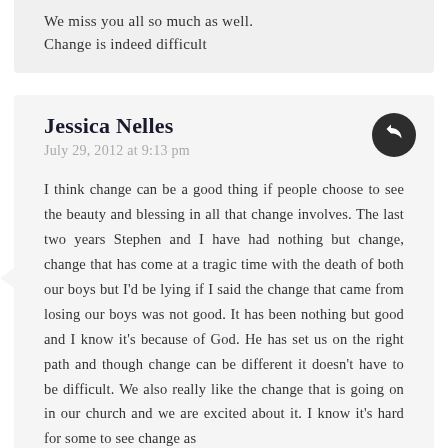We miss you all so much as well. Change is indeed difficult
Jessica Nelles
July 29, 2012 at 9:13 pm
I think change can be a good thing if people choose to see the beauty and blessing in all that change involves. The last two years Stephen and I have had nothing but change, change that has come at a tragic time with the death of both our boys but I'd be lying if I said the change that came from losing our boys was not good. It has been nothing but good and I know it's because of God. He has set us on the right path and though change can be different it doesn't have to be difficult. We also really like the change that is going on in our church and we are excited about it. I know it's hard for some to see change as